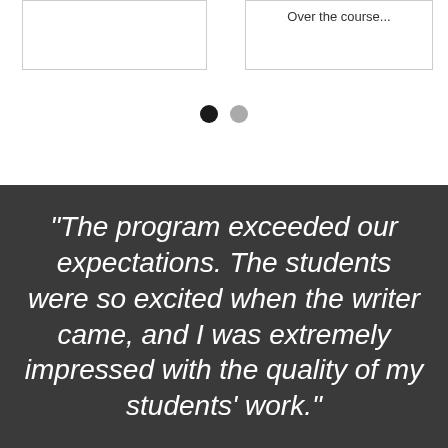[Figure (screenshot): Two card placeholders side by side — left card is empty, right card shows 'Over the course...' text at top]
[Figure (infographic): Two navigation dots — first dot filled black (active), second dot gray (inactive)]
“The program exceeded our expectations. The students were so excited when the writer came, and I was extremely impressed with the quality of my students’ work.”